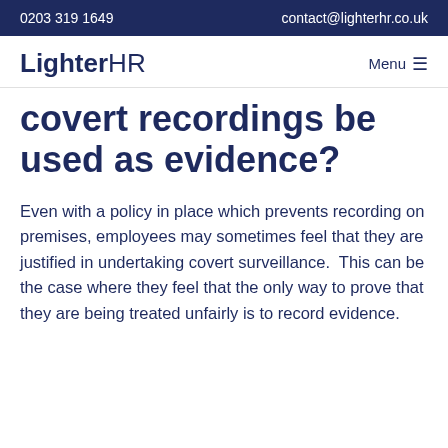0203 319 1649    contact@lighterhr.co.uk
covert recordings be used as evidence?
Even with a policy in place which prevents recording on premises, employees may sometimes feel that they are justified in undertaking covert surveillance.  This can be the case where they feel that the only way to prove that they are being treated unfairly is to record evidence.